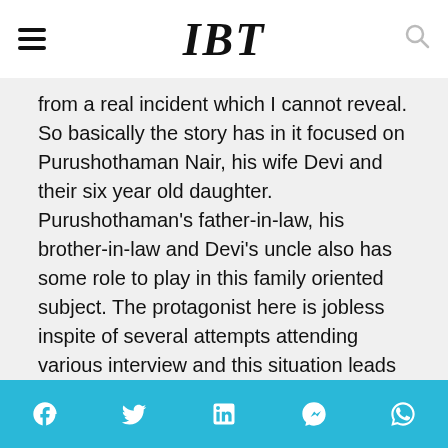IBT
from a real incident which I cannot reveal. So basically the story has in it focused on Purushothaman Nair, his wife Devi and their six year old daughter. Purushothaman's father-in-law, his brother-in-law and Devi's uncle also has some role to play in this family oriented subject. The protagonist here is jobless inspite of several attempts attending various interview and this situation leads to unhappiness in his marital life. Pinneyum move on based on this situation.
Social share bar: Facebook, Twitter, LinkedIn, Messenger, WhatsApp